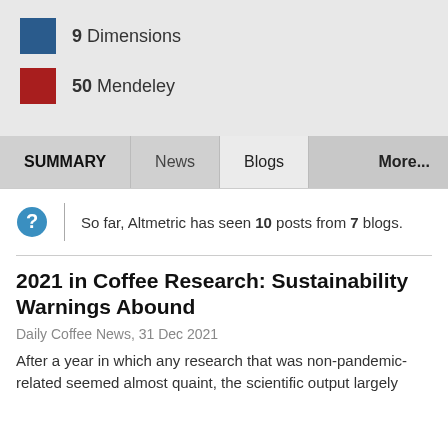9 Dimensions
50 Mendeley
SUMMARY | News | Blogs | More...
So far, Altmetric has seen 10 posts from 7 blogs.
2021 in Coffee Research: Sustainability Warnings Abound
Daily Coffee News, 31 Dec 2021
After a year in which any research that was non-pandemic-related seemed almost quaint, the scientific output largely